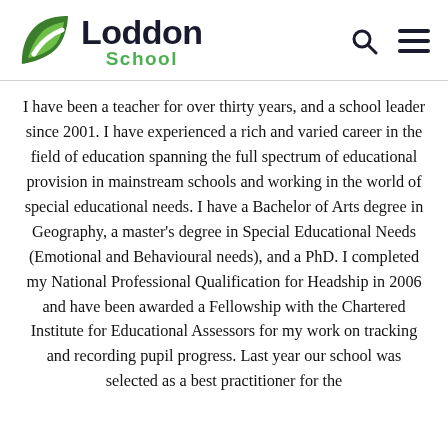[Figure (logo): Loddon School logo with green leaf/arrow icon and dark text 'Loddon' with green 'School' subtitle, plus search and hamburger menu icons on the right]
I have been a teacher for over thirty years, and a school leader since 2001. I have experienced a rich and varied career in the field of education spanning the full spectrum of educational provision in mainstream schools and working in the world of special educational needs. I have a Bachelor of Arts degree in Geography, a master's degree in Special Educational Needs (Emotional and Behavioural needs), and a PhD. I completed my National Professional Qualification for Headship in 2006 and have been awarded a Fellowship with the Chartered Institute for Educational Assessors for my work on tracking and recording pupil progress. Last year our school was selected as a best practitioner for the